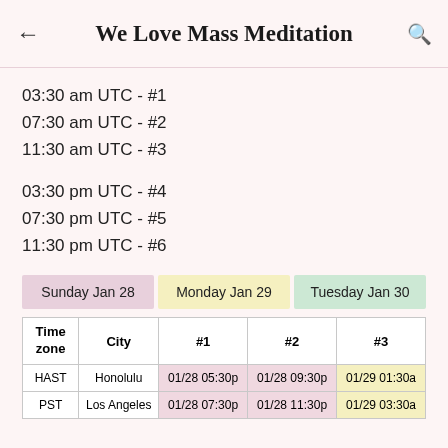We Love Mass Meditation
03:30 am UTC - #1
07:30 am UTC - #2
11:30 am UTC - #3
03:30 pm UTC - #4
07:30 pm UTC - #5
11:30 pm UTC - #6
Sunday Jan 28  Monday Jan 29  Tuesday Jan 30
| Time zone | City | #1 | #2 | #3 |
| --- | --- | --- | --- | --- |
| HAST | Honolulu | 01/28 05:30p | 01/28 09:30p | 01/29 01:30a |
| PST | Los Angeles | 01/28 07:30p | 01/28 11:30p | 01/29 03:30a |